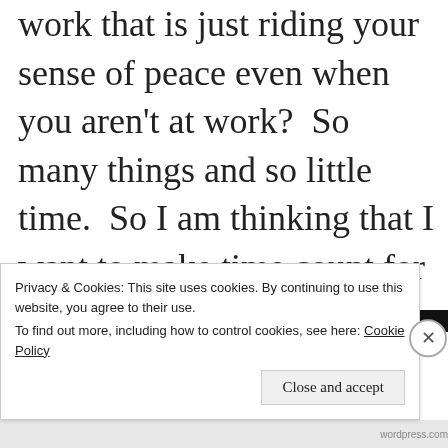work that is just riding your sense of peace even when you aren't at work?  So many things and so little time.  So I am thinking that I want to make time count for the things that give me a sense of accomplishment, fulfillment, joy, and reward.
Privacy & Cookies: This site uses cookies. By continuing to use this website, you agree to their use.
To find out more, including how to control cookies, see here: Cookie Policy